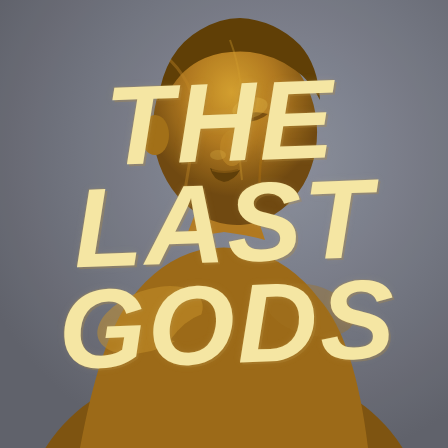[Figure (illustration): A golden-bronze painted human figure (upper torso and head, turned slightly to the right, face looking upward) against a muted grey-blue background. The figure appears coated in gold or bronze paint, with dramatic lighting emphasizing the sculptural form.]
THE LAST GODS